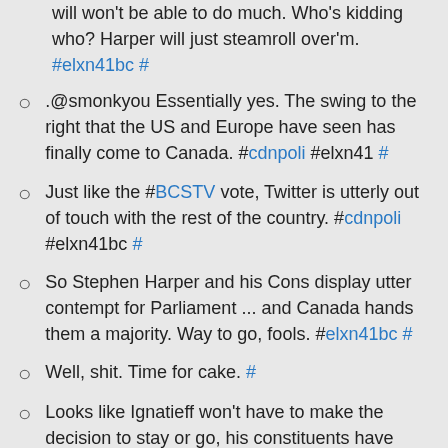will won't be able to do much. Who's kidding who? Harper will just steamroll over'm. #elxn41bc #
.@smonkyou Essentially yes. The swing to the right that the US and Europe have seen has finally come to Canada. #cdnpoli #elxn41 #
Just like the #BCSTV vote, Twitter is utterly out of touch with the rest of the country. #cdnpoli #elxn41bc #
So Stephen Harper and his Cons display utter contempt for Parliament ... and Canada hands them a majority. Way to go, fools. #elxn41bc #
Well, shit. Time for cake. #
Looks like Ignatieff won't have to make the decision to stay or go, his constituents have made the decision for him. #elxn41bc #
Ummm. @LeftCoastMama has taken to calling